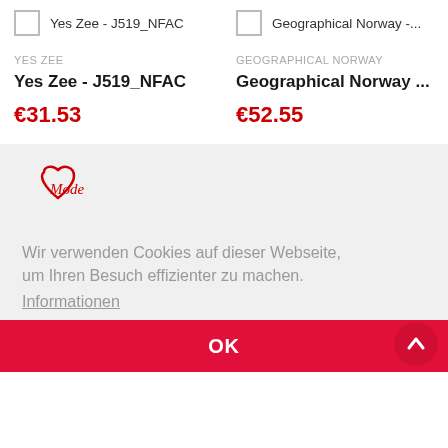Yes Zee - J519_NFAC
Geographical Norway -...
YES ZEE
Yes Zee - J519_NFAC
€31.53
GEOGRAPHICAL NORWAY
Geographical Norway ...
€52.55
[Figure (logo): Mode heart logo in red outline with cursive 'Mode' text]
Wir verwenden Cookies auf dieser Webseite, um Ihren Besuch effizienter zu machen.
Informationen
OK